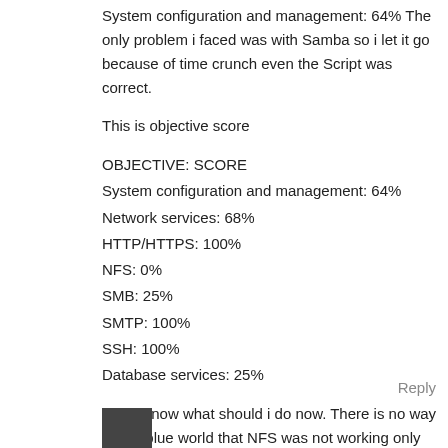System configuration and management: 64% The only problem i faced was with Samba so i let it go because of time crunch even the Script was correct.
This is objective score
OBJECTIVE: SCORE
System configuration and management: 64%
Network services: 68%
HTTP/HTTPS: 100%
NFS: 0%
SMB: 25%
SMTP: 100%
SSH: 100%
Database services: 25%
I dont know what should i do now. There is no way in this blue world that NFS was not working only needed 7 more marks.
Reply